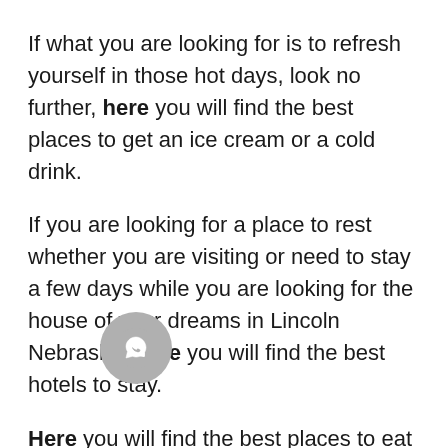If what you are looking for is to refresh yourself in those hot days, look no further, here you will find the best places to get an ice cream or a cold drink.
If you are looking for a place to rest whether you are visiting or need to stay a few days while you are looking for the house of your dreams in Lincoln Nebraska, here you will find the best hotels to stay.
Here you will find the best places to eat in Lincoln, Nebraska.
If you wonder what you can do, what places to visit during your stay, here you can find everything you need to know.
If you want to move to Lincoln, Nebraska, the first